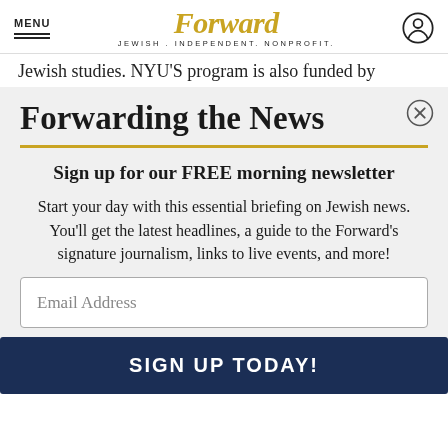MENU | Forward — JEWISH . INDEPENDENT. NONPROFIT.
Jewish studies. NYU'S program is also funded by
Forwarding the News
Sign up for our FREE morning newsletter
Start your day with this essential briefing on Jewish news. You'll get the latest headlines, a guide to the Forward's signature journalism, links to live events, and more!
Email Address
SIGN UP TODAY!